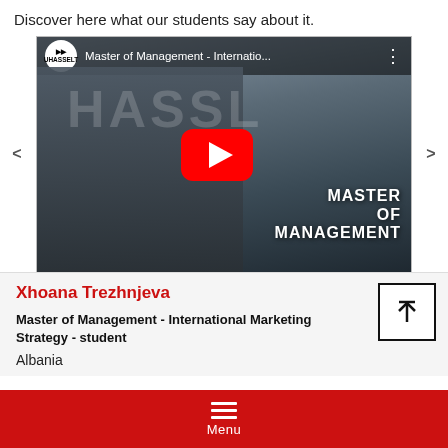Discover here what our students say about it.
[Figure (screenshot): YouTube video thumbnail showing a student in front of a university building (HASSELT). Title reads 'Master of Management - Internatio...' with UHasselt logo. Large YouTube play button in center. Text overlay reads 'MASTER OF MANAGEMENT'. Navigation arrows on left and right sides.]
Xhoana Trezhnjeva
Master of Management - International Marketing Strategy - student
Albania
Menu